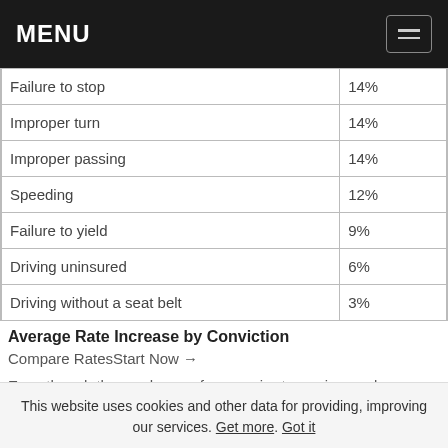MENU
| Failure to stop | 14% |
| Improper turn | 14% |
| Improper passing | 14% |
| Speeding | 12% |
| Failure to yield | 9% |
| Driving uninsured | 6% |
| Driving without a seat belt | 3% |
Average Rate Increase by Conviction
Compare RatesStart Now →
Even though the surcharges from carrier-to-carrier can be dramatically different, there's still an industry standard. Some convictions are considered less serious, and they come with a lesser penalty than others.
This website uses cookies and other data for providing, improving our services. Get more. Got it